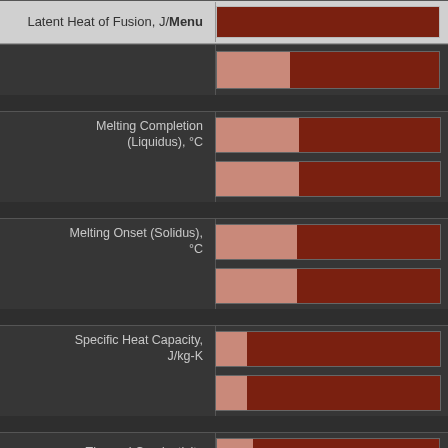[Figure (stacked-bar-chart): Horizontal stacked bar chart showing material thermal properties. Each property has two bars (rows). Light pink portion on left, dark red on right.]